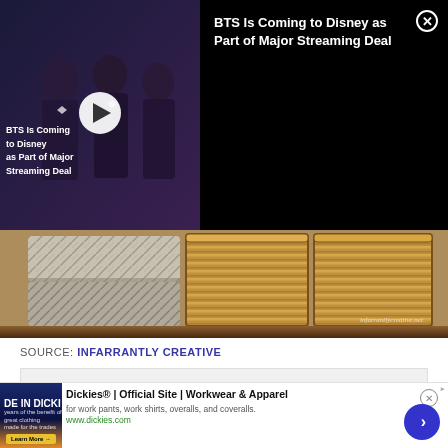[Figure (screenshot): Video thumbnail showing BTS members in formal wear with overlay text 'BTS Is Coming t...' and play button, alongside black panel with title 'BTS Is Coming to Disney as Part of Major Streaming Deal' and close button]
[Figure (photo): Photo of a wooden shelf with folded grey blankets and two wicker baskets, watermarked 'infarrantlycreative.net']
SOURCE: INFARRANTLY CREATIVE
ADVERTISEMENT
[Figure (screenshot): Bottom advertisement banner for Dickies Official Site showing 'DE IN DICKI' text on dark background, with title 'Dickies® | Official Site | Workwear & Apparel', subtitle 'for work pants, work shirts, overalls, and coveralls.', URL 'www.dickies.com', close button, and blue arrow button]